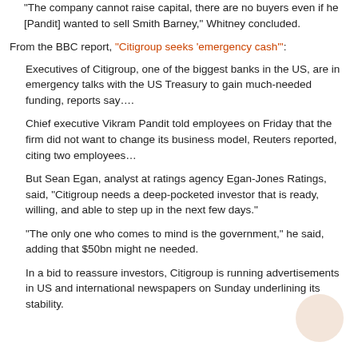The company cannot raise capital, there are no buyers even if he [Pandit] wanted to sell Smith Barney," Whitney concluded.
From the BBC report, "Citigroup seeks 'emergency cash'":
Executives of Citigroup, one of the biggest banks in the US, are in emergency talks with the US Treasury to gain much-needed funding, reports say….
Chief executive Vikram Pandit told employees on Friday that the firm did not want to change its business model, Reuters reported, citing two employees…
But Sean Egan, analyst at ratings agency Egan-Jones Ratings, said, "Citigroup needs a deep-pocketed investor that is ready, willing, and able to step up in the next few days."
"The only one who comes to mind is the government," he said, adding that $50bn might ne needed.
In a bid to reassure investors, Citigroup is running advertisements in US and international newspapers on Sunday underlining its stability.